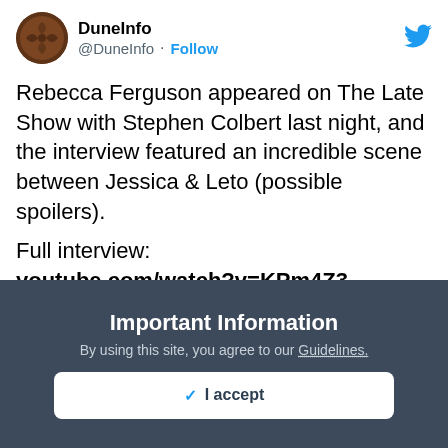[Figure (screenshot): Twitter/X profile avatar for DuneInfo account - circular avatar with golden/brown baseball-like design]
DuneInfo @DuneInfo · Follow
Rebecca Ferguson appeared on The Late Show with Stephen Colbert last night, and the interview featured an incredible scene between Jessica & Leto (possible spoilers).

Full interview:
youtube.com/watch?v=KPm4Z3...
[Figure (screenshot): Dark video preview thumbnail with 'Watch on Twitter' button in top right corner, showing a faint figure silhouette at the bottom center]
Important Information
By using this site, you agree to our Guidelines.
✓ I accept